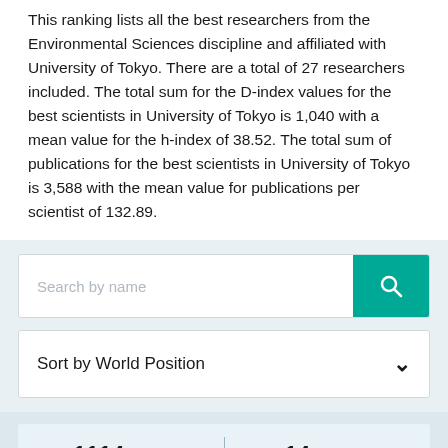This ranking lists all the best researchers from the Environmental Sciences discipline and affiliated with University of Tokyo. There are a total of 27 researchers included. The total sum for the D-index values for the best scientists in University of Tokyo is 1,040 with a mean value for the h-index of 38.52. The total sum of publications for the best scientists in University of Tokyo is 3,588 with the mean value for publications per scientist of 132.89.
[Figure (screenshot): Search bar with placeholder text 'Search by name' and a teal search button with magnifying glass icon]
[Figure (screenshot): Sort dropdown showing 'Sort by World Position' with a chevron/arrow]
1114 World   14 National